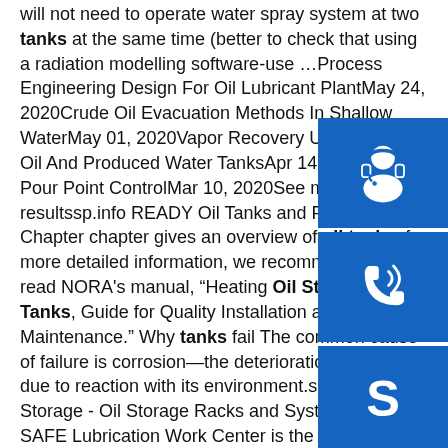will not need to operate water spray system at two tanks at the same time (better to check that using a radiation modelling software-use …Process Engineering Design For Oil Lubricant PlantMay 24, 2020Crude Oil Evacuation Methods In Shallow WaterMay 01, 2020Vapor Recovery Unit For Crude Oil And Produced Water TanksApr 14, 2020F-Oil Pour Point ControlMar 10, 2020See more resultssp.info READY Oil Tanks and Piping Chapter This chapter gives an overview of oil tanks; for more detailed information, we recommend that you read NORA's manual, "Heating Oil Storage Tanks, Guide for Quality Installation and Maintenance." Why tanks fail The most common cause of failure is corrosion—the deterioration of the tank due to reaction with its environment.sp.info Oil Storage - Oil Storage Racks and SystemsThe OIL SAFE Lubrication Work Center is the best practice solution for storage and dispensing of lubricating oils and glycol based coolants in industrial facilities. P/N: 894700 $15,256.79
[Figure (illustration): Blue square icon with white headset/support agent silhouette]
[Figure (illustration): Blue square icon with white phone/call silhouette]
[Figure (illustration): Blue square icon with white Skype logo]